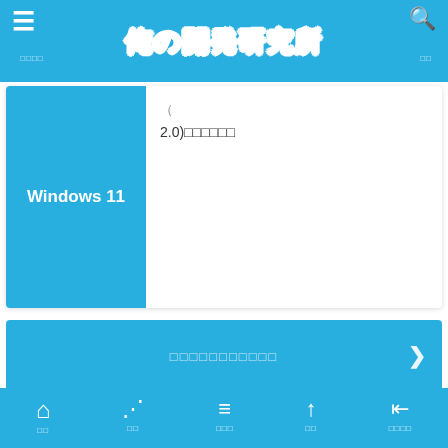俺の開発研究所
[Figure (screenshot): Windows 11 article card with blue thumbnail and Japanese text '2.0)□□□□□□']
□□□□□□□□□□□□
[Figure (logo): 俺の開発研究所 logo with grey outlined text on white background]
□□□□□□　　□□□□□□□□□□
□□□□□□　　□□□□□□□
ホーム　シェア　記事一覧　上へ　インデント